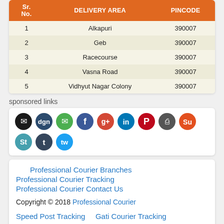| Sr. No. | DELIVERY AREA | PINCODE |
| --- | --- | --- |
| 1 | Alkapuri | 390007 |
| 2 | Geb | 390007 |
| 3 | Racecourse | 390007 |
| 4 | Vasna Road | 390007 |
| 5 | Vidhyut Nagar Colony | 390007 |
sponsored links
[Figure (infographic): Row of social media sharing icon buttons including email, digg, gmail, facebook, google+, linkedin, pinterest, print, stumbleupon, tumblr, twitter]
Professional Courier Branches
Professional Courier Tracking
Professional Courier Contact Us
Copyright © 2018 Professional Courier
Speed Post Tracking   Gati Courier Tracking   DTDC Courier Tracking   India Post Tracking   Speed Post   Bluedart Tracking
Disclaimer: Our website is a independent website which is for users to track couriers of different from one place and .We are not associated with any courier tracking company.Our aim is to provide a single platform to track all courier.